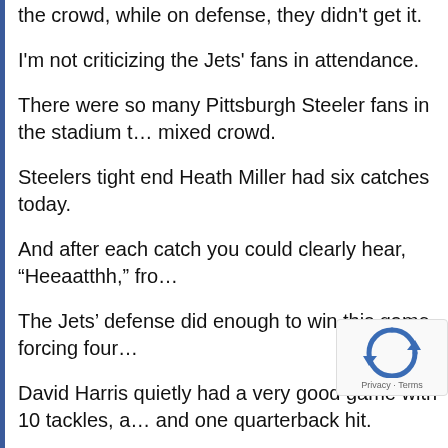the crowd, while on defense, they didn't get it.
I'm not criticizing the Jets' fans in attendance.
There were so many Pittsburgh Steeler fans in the stadium t… mixed crowd.
Steelers tight end Heath Miller had six catches today.
And after each catch you could clearly hear, "Heeaatthh," fro…
The Jets' defense did enough to win this game, forcing four…
David Harris quietly had a very good game with 10 tackles, a… and one quarterback hit.
Just like against New England, the Jets' offense let the defe…
This is getting old to some of the Jets' core defensive player…
And if this turnover machine continues to let down the defen… to start losing some of the team . . .
Once again, the Jets' run defense was outstanding.
[Figure (logo): reCAPTCHA logo with Privacy and Terms text]